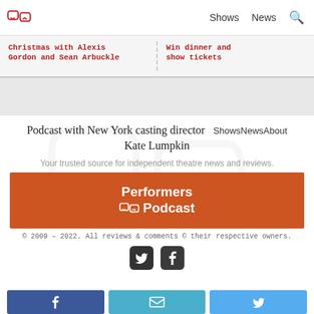Shows  News  🔍
Christmas with Alexis Gordon and Sean Arbuckle
Win dinner and show tickets
Podcast with New York casting director Kate Lumpkin   ShowsNewsAbout
Your trusted source for independent theatre news and reviews.
[Figure (logo): Performers Podcast logo on orange/red background]
© 2009 – 2022. All reviews & comments © their respective owners.
[Figure (infographic): Twitter and Facebook social media icons (dark rounded squares)]
[Figure (infographic): Share buttons: Facebook (blue), Email (light blue), Twitter (light blue)]